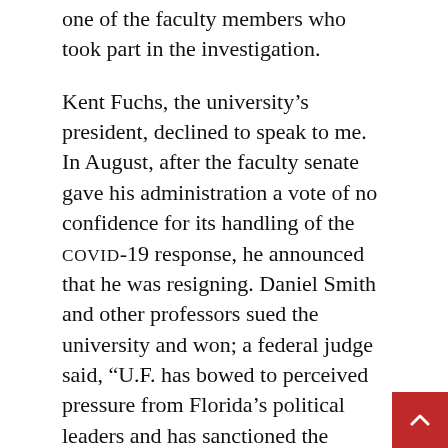one of the faculty members who took part in the investigation.
Kent Fuchs, the university's president, declined to speak to me. In August, after the faculty senate gave his administration a vote of no confidence for its handling of the COVID-19 response, he announced that he was resigning. Daniel Smith and other professors sued the university and won; a federal judge said, “U.F. has bowed to perceived pressure from Florida’s political leaders and has sanctioned the unconstitutional suppression of ideas out of favor with Florida’s ruling party.”
Much of DeSantis’s influence at the university appears to be exercised through Mori Hosseini, a real-estate developer who serves as the chairm… of the board. Hosseini contributed more than a